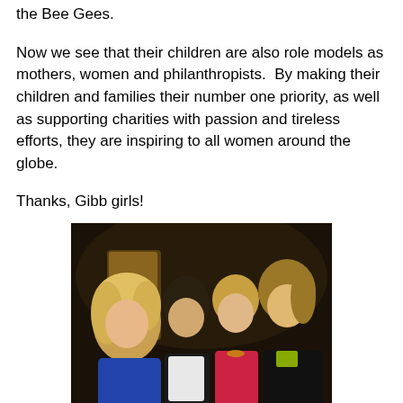the Bee Gees.
Now we see that their children are also role models as mothers, women and philanthropists.  By making their children and families their number one priority, as well as supporting charities with passion and tireless efforts, they are inspiring to all women around the globe.
Thanks, Gibb girls!
[Figure (photo): A group photo of four young people (two women, two men) posing together. One woman has blonde hair and wears a blue top, another woman wears a red/pink outfit. The two men are smiling.]